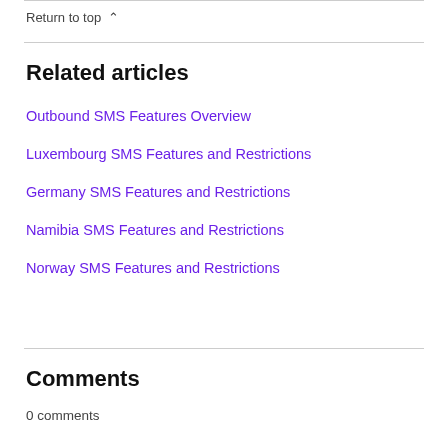Return to top ^
Related articles
Outbound SMS Features Overview
Luxembourg SMS Features and Restrictions
Germany SMS Features and Restrictions
Namibia SMS Features and Restrictions
Norway SMS Features and Restrictions
Comments
0 comments